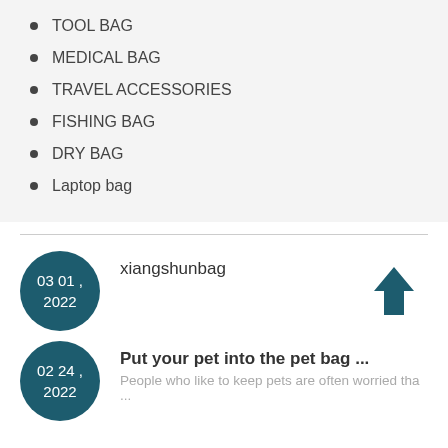TOOL BAG
MEDICAL BAG
TRAVEL ACCESSORIES
FISHING BAG
DRY BAG
Laptop bag
03 01 , 2022 — xiangshunbag
02 24 , 2022 — Put your pet into the pet bag ... People who like to keep pets are often worried tha ...